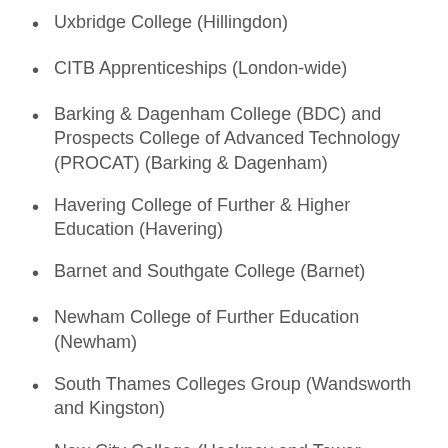Uxbridge College (Hillingdon)
CITB Apprenticeships (London-wide)
Barking & Dagenham College (BDC) and Prospects College of Advanced Technology (PROCAT) (Barking & Dagenham)
Havering College of Further & Higher Education (Havering)
Barnet and Southgate College (Barnet)
Newham College of Further Education (Newham)
South Thames Colleges Group (Wandsworth and Kingston)
New City College (Hackney and Tower Hamlets)
The College of Haringey, Enfield and North East